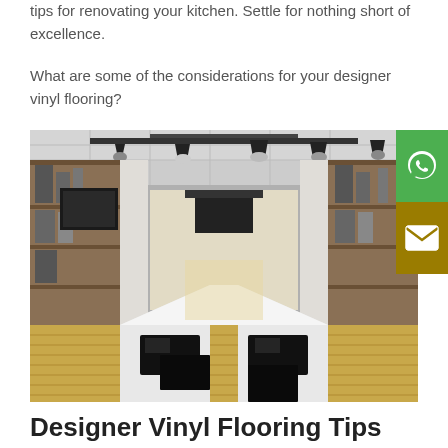tips for renovating your kitchen. Settle for nothing short of excellence.
What are some of the considerations for your designer vinyl flooring?
[Figure (photo): Interior of a large commercial/showroom kitchen with wooden shelving units on both sides, white structural columns, professional studio lighting rigs overhead, long white island countertops in the center, black induction cooktops embedded in the counters, and light hardwood flooring. The perspective is looking down the length of the room toward bright windows in the background.]
Designer Vinyl Flooring Tips for